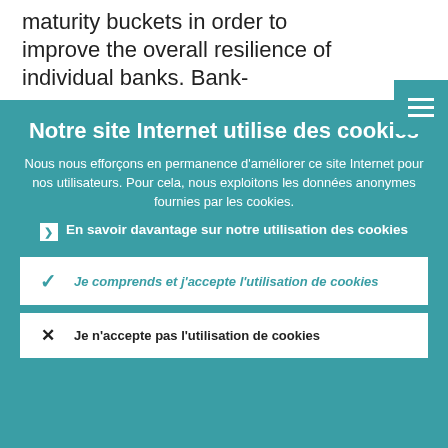maturity buckets in order to improve the overall resilience of individual banks. Bank-
Notre site Internet utilise des cookies
Nous nous efforçons en permanence d'améliorer ce site Internet pour nos utilisateurs. Pour cela, nous exploitons les données anonymes fournies par les cookies.
En savoir davantage sur notre utilisation des cookies
Je comprends et j'accepte l'utilisation de cookies
Je n'accepte pas l'utilisation de cookies